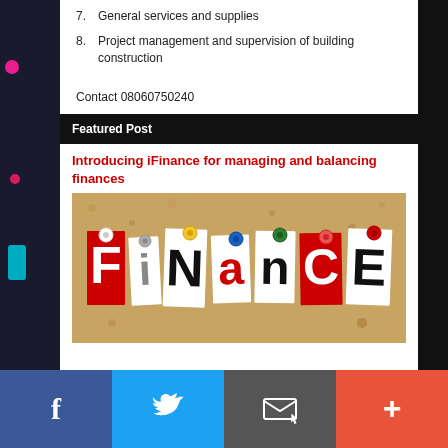7. General services and supplies
8. Project management and supervision of building construction
Contact 08060750240
Featured Post
Introducing iFinance for managing and balancing finances
[Figure (photo): Cork board with colorful pushpins spelling out the word FINANCE in cut-out paper letters of various styles and colors]
f  [Twitter bird]  [Email icon]  +